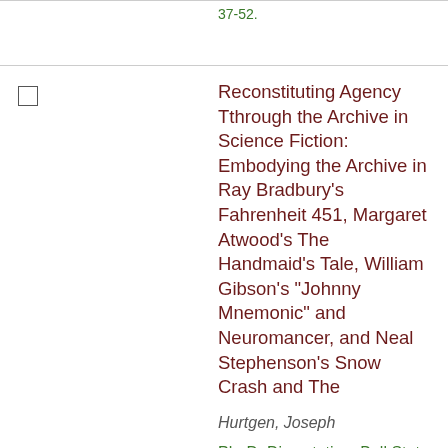37-52.
Reconstituting Agency Tthrough the Archive in Science Fiction: Embodying the Archive in Ray Bradbury's Fahrenheit 451, Margaret Atwood's The Handmaid's Tale, William Gibson's "Johnny Mnemonic" and Neuromancer, and Neal Stephenson's Snow Crash and The
Hurtgen, Joseph
Ph. D. Dissertation, Ball State